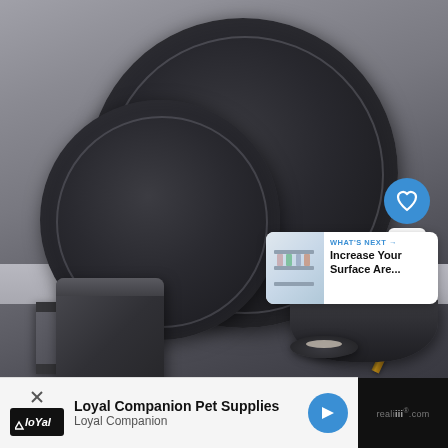[Figure (photo): Product photo of a matte black ceramic dinnerware set consisting of two round plates (large dinner plate and medium plate) leaning against a grey textured background, a matte black coffee mug on the left, a matte black bowl with a wooden chopstick/spoon resting in it on the right, and a small shallow dish in the front center. UI overlays include a blue heart/favorite button, a share button, a count badge showing '1', and a 'What's Next' card linking to 'Increase Your Surface Are...' article. Bottom shows an advertisement for 'Loyal Companion Pet Supplies'.]
WHAT'S NEXT → Increase Your Surface Are...
1
Loyal Companion Pet Supplies
Loyal Companion